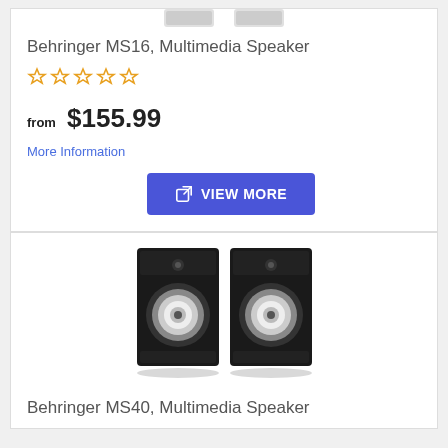[Figure (photo): Partial image of Behringer MS16 Multimedia Speaker pair (top portion cropped)]
Behringer MS16, Multimedia Speaker
[Figure (other): 5 empty star rating icons in gold/yellow]
from $155.99
More Information
[Figure (other): VIEW MORE button with external link icon]
[Figure (photo): Behringer MS40 Multimedia Speaker pair, two black bookshelf speakers]
Behringer MS40, Multimedia Speaker